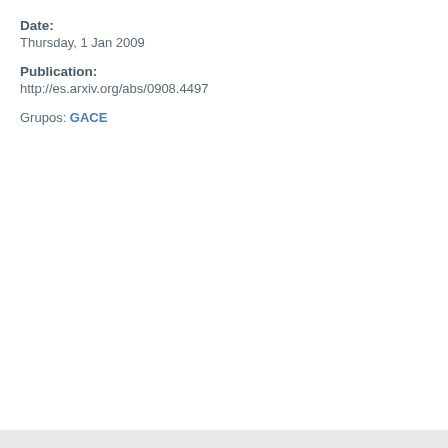Date:
Thursday, 1 Jan 2009
Publication:
http://es.arxiv.org/abs/0908.4497
Grupos: GACE